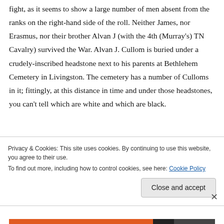fight, as it seems to show a large number of men absent from the ranks on the right-hand side of the roll. Neither James, nor Erasmus, nor their brother Alvan J (with the 4th (Murray's) TN Cavalry) survived the War. Alvan J. Cullom is buried under a crudely-inscribed headstone next to his parents at Bethlehem Cemetery in Livingston. The cemetery has a number of Culloms in it; fittingly, at this distance in time and under those headstones, you can't tell which are white and which are black.
Privacy & Cookies: This site uses cookies. By continuing to use this website, you agree to their use.
To find out more, including how to control cookies, see here: Cookie Policy
Close and accept